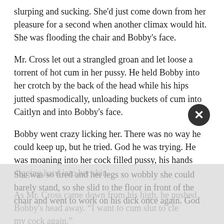slurping and sucking. She'd just come down from her pleasure for a second when another climax would hit. She was flooding the chair and Bobby's face.
Mr. Cross let out a strangled groan and let loose a torrent of hot cum in her pussy. He held Bobby into her crotch by the back of the head while his hips jutted spasmodically, unloading buckets of cum into Caitlyn and into Bobby's face.
Bobby went crazy licking her. There was no way he could keep up, but he tried. God he was trying. He was moaning into her cock filled pussy, his hands digging hard into her skin.
As Mr. Cross came down from his high, he pushed Bobby's head away. “I want to cum slut to clean my cock again.”
She was so tired and her legs so wobbly she could barely stand, so she slid to the floor in front of the chair and went to work on his dick once again. God